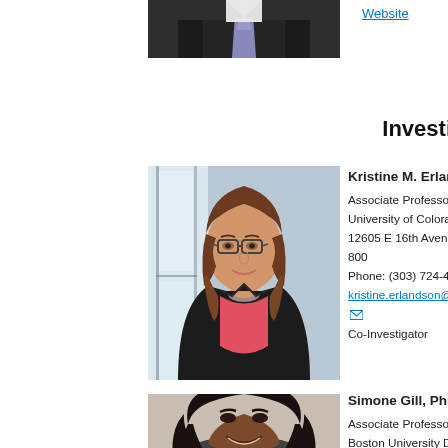[Figure (photo): Partial photo of a person in suit and tie, cropped at top of page]
Website
Investi
[Figure (photo): Professional headshot of Kristine M. Erlandson, MD, a woman with glasses and brown hair wearing a black blazer over a pink top, standing in front of windows]
Kristine M. Erlandson, MD
Associate Professor, Medicine-Infectio
University of Colorado School of Medi
12605 E 16th Avenue, Aurora, CO 800
Phone: (303) 724-4941
kristine.erlandson@cuanschutz.edu
Co-Investigator
[Figure (photo): Headshot of Simone Gill, PhD, OT, OTR, a woman with dark hair, smiling, partially visible at bottom of page]
Simone Gill, PhD, OT, OTR
Associate Professor
Boston University Department of Occu
635 Commonwealth Avenue, Room 50
Phone: 617-353-7513
simvgill@bu.edu